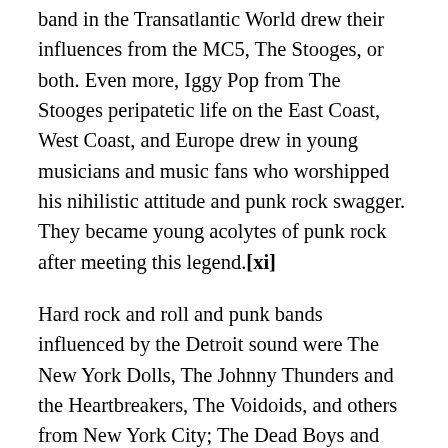band in the Transatlantic World drew their influences from the MC5, The Stooges, or both. Even more, Iggy Pop from The Stooges peripatetic life on the East Coast, West Coast, and Europe drew in young musicians and music fans who worshipped his nihilistic attitude and punk rock swagger. They became young acolytes of punk rock after meeting this legend.[xi]
Hard rock and roll and punk bands influenced by the Detroit sound were The New York Dolls, The Johnny Thunders and the Heartbreakers, The Voidoids, and others from New York City; The Dead Boys and Rocket from the Tombs from Cleveland; The Runaways, The Cramps, The Germs, X, The Weirdos, Black Flag and others from Los Angeles; The Zeroes from San Diego; The Dead Kennedys, The Avengers, and others from San Francisco; the Bad Brains, Black Market Baby, The Slickee Boys and others in